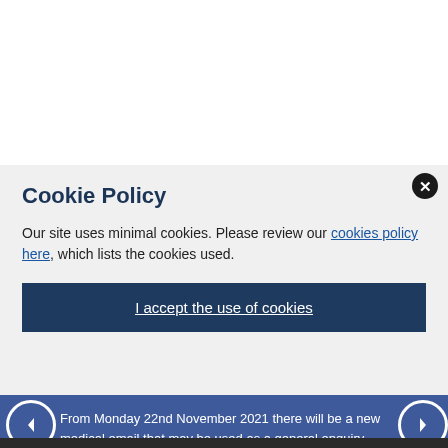Cookie Policy
Our site uses minimal cookies. Please review our cookies policy here, which lists the cookies used.
I accept the use of cookies
From Monday 22nd November 2021 there will be a new medical email that may be used as a general enquiry box for all...